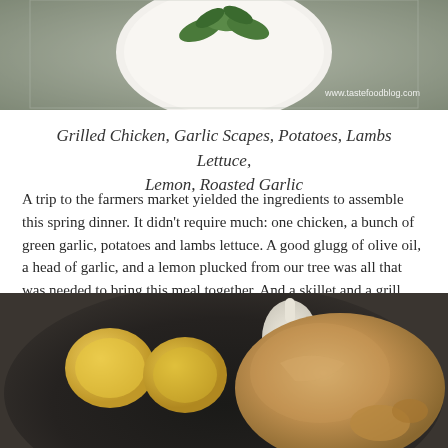[Figure (photo): Top photo of a white plate with green herb leaves (basil/lettuce) on a wooden surface, with watermark 'www.tastefoodblog.com']
Grilled Chicken, Garlic Scapes, Potatoes, Lambs Lettuce, Lemon, Roasted Garlic
A trip to the farmers market yielded the ingredients to assemble this spring dinner. It didn't require much: one chicken, a bunch of green garlic, potatoes and lambs lettuce. A good glugg of olive oil, a head of garlic, and a lemon plucked from our tree was all that was needed to bring this meal together. And a skillet and a grill.
[Figure (photo): Bottom photo of a raw whole chicken in a black cast iron skillet with lemon wedges and a whole garlic bulb]